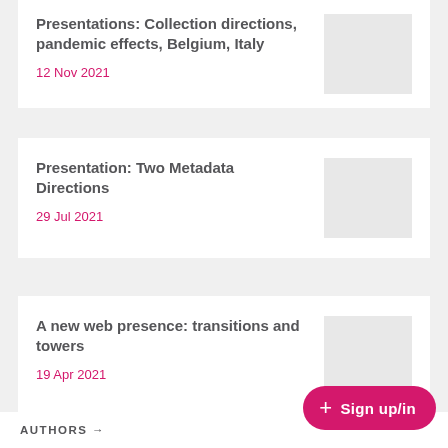Presentations: Collection directions, pandemic effects, Belgium, Italy
12 Nov 2021
Presentation: Two Metadata Directions
29 Jul 2021
A new web presence: transitions and towers
19 Apr 2021
AUTHORS →